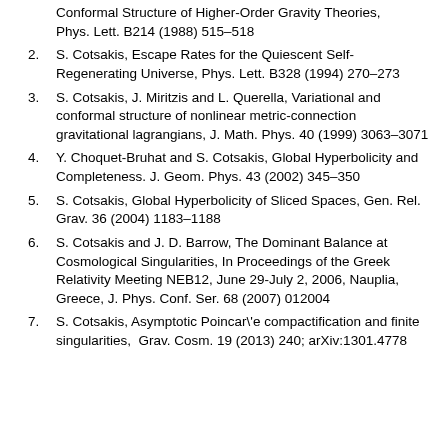Conformal Structure of Higher-Order Gravity Theories, Phys. Lett. B214 (1988) 515–518
2. S. Cotsakis, Escape Rates for the Quiescent Self-Regenerating Universe, Phys. Lett. B328 (1994) 270–273
3. S. Cotsakis, J. Miritzis and L. Querella, Variational and conformal structure of nonlinear metric-connection gravitational lagrangians, J. Math. Phys. 40 (1999) 3063–3071
4. Y. Choquet-Bruhat and S. Cotsakis, Global Hyperbolicity and Completeness. J. Geom. Phys. 43 (2002) 345–350
5. S. Cotsakis, Global Hyperbolicity of Sliced Spaces, Gen. Rel. Grav. 36 (2004) 1183–1188
6. S. Cotsakis and J. D. Barrow, The Dominant Balance at Cosmological Singularities, In Proceedings of the Greek Relativity Meeting NEB12, June 29-July 2, 2006, Nauplia, Greece, J. Phys. Conf. Ser. 68 (2007) 012004
7. S. Cotsakis, Asymptotic Poincar\'e compactification and finite singularities,  Grav. Cosm. 19 (2013) 240; arXiv:1301.4778